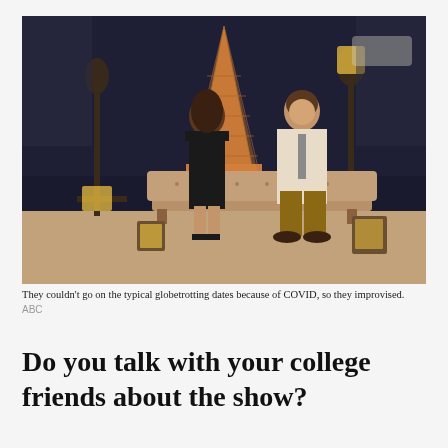[Figure (photo): A couple sitting on a tufted bench in front of a replica Eiffel Tower at night. A woman in a black dress and a man in a beige blazer with golden-brown pants are seated, with decorative iron lamp posts and lanterns around them on a cobblestone surface.]
They couldn't go on the typical globetrotting dates because of COVID, so they improvised.
ABC
Do you talk with your college friends about the show?